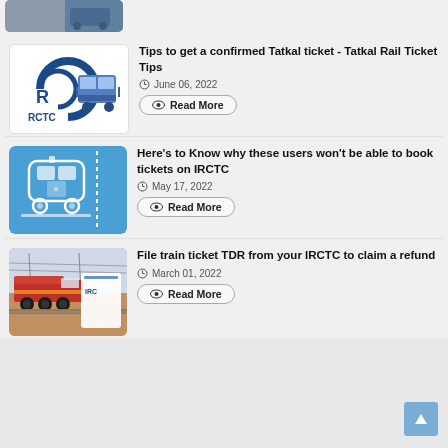[Figure (photo): Cropped top portion of a train/rail image, partially visible]
Tips to get a confirmed Tatkal ticket - Tatkal Rail Ticket Tips
June 06, 2022
Read More
[Figure (illustration): Blue IRCTC logo with train illustration on white background]
Here's to Know why these users won't be able to book tickets on IRCTC
May 17, 2022
Read More
[Figure (illustration): Blue train ticket illustration with white train icon and 'Train ticket' text rotated sideways]
File train ticket TDR from your IRCTC to claim a refund
March 01, 2022
Read More